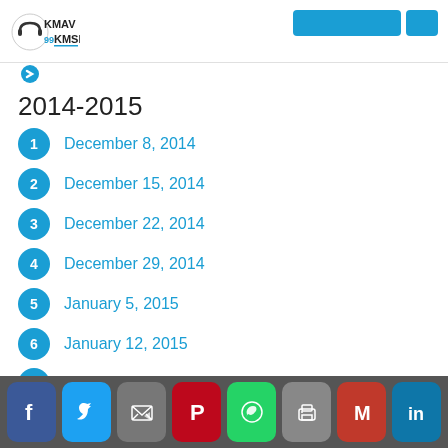KMAV KMSR 99
2014-2015
1  December 8, 2014
2  December 15, 2014
3  December 22, 2014
4  December 29, 2014
5  January 5, 2015
6  January 12, 2015
7  January 19, 2015
Social share bar: Facebook, Twitter, Email, Pinterest, WhatsApp, Print, Gmail, LinkedIn